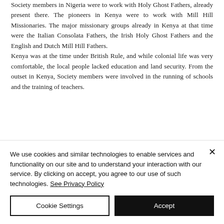Society members in Nigeria were to work with Holy Ghost Fathers, already present there. The pioneers in Kenya were to work with Mill Hill Missionaries. The major missionary groups already in Kenya at that time were the Italian Consolata Fathers, the Irish Holy Ghost Fathers and the English and Dutch Mill Hill Fathers.
Kenya was at the time under British Rule, and while colonial life was very comfortable, the local people lacked education and land security. From the outset in Kenya, Society members were involved in the running of schools and the training of teachers.
We use cookies and similar technologies to enable services and functionality on our site and to understand your interaction with our service. By clicking on accept, you agree to our use of such technologies. See Privacy Policy